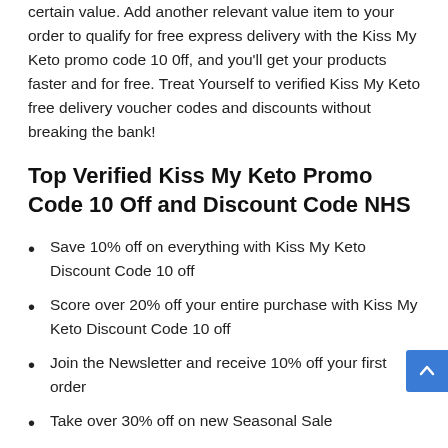certain value. Add another relevant value item to your order to qualify for free express delivery with the Kiss My Keto promo code 10 0ff, and you'll get your products faster and for free. Treat Yourself to verified Kiss My Keto free delivery voucher codes and discounts without breaking the bank!
Top Verified Kiss My Keto Promo Code 10 Off and Discount Code NHS
Save 10% off on everything with Kiss My Keto Discount Code 10 off
Score over 20% off your entire purchase with Kiss My Keto Discount Code 10 off
Join the Newsletter and receive 10% off your first order
Take over 30% off on new Seasonal Sale
Enjoy Free Delivery on all orders over $70